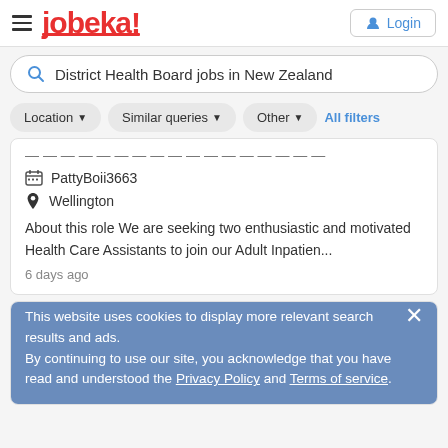jobeka! Login
District Health Board jobs in New Zealand
Location ▼
Similar queries ▼
Other ▼
All filters
PattyBoii3663
Wellington
About this role We are seeking two enthusiastic and motivated Health Care Assistants to join our Adult Inpatien...
6 days ago
Radiation Therapistat District Health Board Hamilton
Wellington
This website uses cookies to display more relevant search results and ads.
By continuing to use our site, you acknowledge that you have read and understood the Privacy Policy and Terms of service.